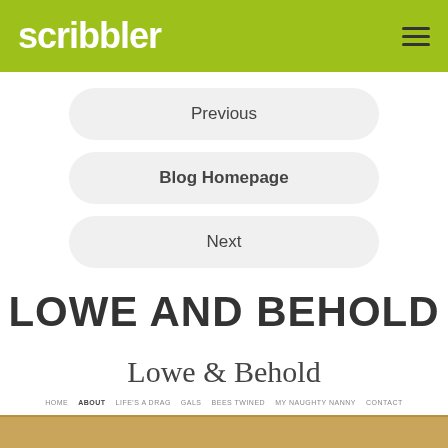scribbler
Previous
Blog Homepage
Next
LOWE AND BEHOLD
[Figure (logo): Lowe & Behold cursive script logo]
HOME   ABOUT   LIFE'S A DRAG   GALS   BEES TWINED   MY NAUGHTY NANNY   CONTACT